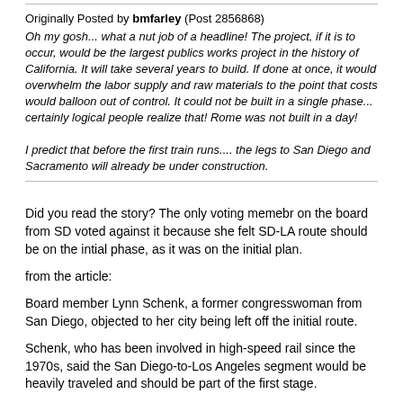Originally Posted by bmfarley (Post 2856868)
Oh my gosh... what a nut job of a headline! The project, if it is to occur, would be the largest publics works project in the history of California. It will take several years to build. If done at once, it would overwhelm the labor supply and raw materials to the point that costs would balloon out of control. It could not be built in a single phase... certainly logical people realize that! Rome was not built in a day!

I predict that before the first train runs.... the legs to San Diego and Sacramento will already be under construction.
Did you read the story? The only voting memebr on the board from SD voted against it because she felt SD-LA route should be on the intial phase, as it was on the initial plan.
from the article:
Board member Lynn Schenk, a former congresswoman from San Diego, objected to her city being left off the initial route.
Schenk, who has been involved in high-speed rail since the 1970s, said the San Diego-to-Los Angeles segment would be heavily traveled and should be part of the first stage.
I guess she is a nut-job as well for voting no as a protest vote for SD being left off? Have you been involved in high-speed rail since the